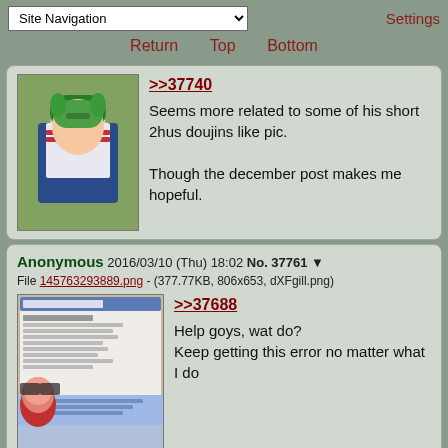Site Navigation | Settings | Return | Top | Bottom
>>37740
Seems more related to some of his short 2hus doujins like pic.

Though the december post makes me hopeful.
Anonymous 2016/03/10 (Thu) 18:02 No. 37761 ▼
File 145763293889.png - (377.77KB, 806x653, dXFgill.png)
>>37688
Help goys, wat do?
Keep getting this error no matter what I do
Anonymous 2016/03/10 (Thu) 18:21 No. 37762 ▼
>>37761
Fuck